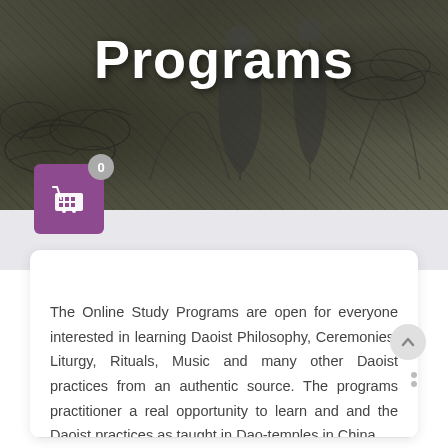[Figure (illustration): Traditional Chinese Daoist illustration as hero banner background with figures and cloud motifs in dark ink style]
Programs
The Online Study Programs are open for everyone interested in learning Daoist Philosophy, Ceremonies, Liturgy, Rituals, Music and many other Daoist practices from an authentic source. The programs practitioner a real opportunity to learn and and the Daoist practices as taught in Dao-temples in China.